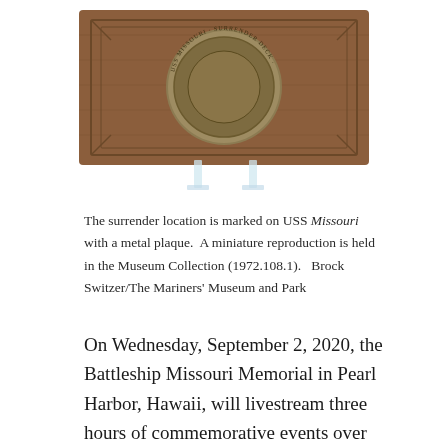[Figure (photo): A wooden plaque with a circular metal medallion mounted on it, held up by two clear acrylic stands. The wood has a warm brown tone with geometric inlay patterns. The metal disc contains text around its circumference.]
The surrender location is marked on USS Missouri with a metal plaque.  A miniature reproduction is held in the Museum Collection (1972.108.1).   Brock Switzer/The Mariners' Museum and Park
On Wednesday, September 2, 2020, the Battleship Missouri Memorial in Pearl Harbor, Hawaii, will livestream three hours of commemorative events over Facebook to mark the 75th anniversary of the end of World War II, from the very ship